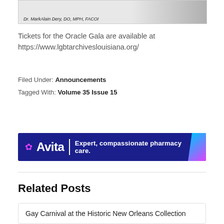[Figure (photo): Banner image with text: Dr. MarkAlain Dery, DO, MPH, FACOI]
Tickets for the Oracle Gala are available at https://www.lgbtarchiveslouisiana.org/
Filed Under: Announcements
Tagged With: Volume 35 Issue 15
[Figure (logo): Avita pharmacy advertisement banner: Expert, compassionate pharmacy care.]
Related Posts
Gay Carnival at the Historic New Orleans Collection